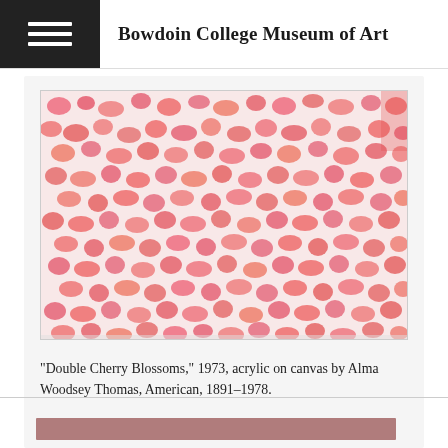Bowdoin College Museum of Art
[Figure (photo): Painting: 'Double Cherry Blossoms,' 1973, acrylic on canvas by Alma Woodsey Thomas. A dense, all-over abstract pattern of pink/coral rounded shapes on a white background, resembling blossoms or organic forms.]
"Double Cherry Blossoms," 1973, acrylic on canvas by Alma Woodsey Thomas, American, 1891–1978.